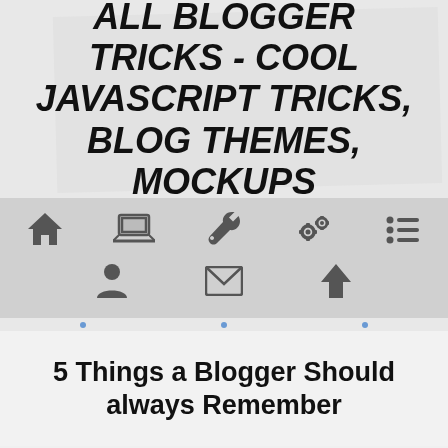ALL BLOGGER TRICKS - COOL JAVASCRIPT TRICKS, BLOG THEMES, MOCKUPS
[Figure (screenshot): Navigation icon bar with icons: home, laptop, wrench, settings gears, list, person, envelope, up arrow]
5 Things a Blogger Should always Remember